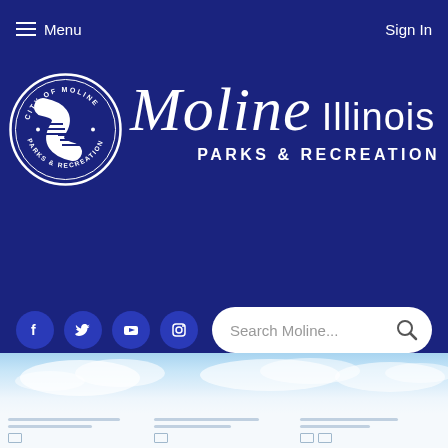Menu | Sign In
[Figure (logo): City of Moline Parks & Recreation circular seal logo with white on dark blue]
Moline Illinois PARKS & RECREATION
[Figure (infographic): Social media icons row: Facebook, Twitter, YouTube, Instagram; followed by Search Moline... search bar]
[Figure (photo): Sky and clouds photo banner at bottom of page, light blue sky with white clouds]